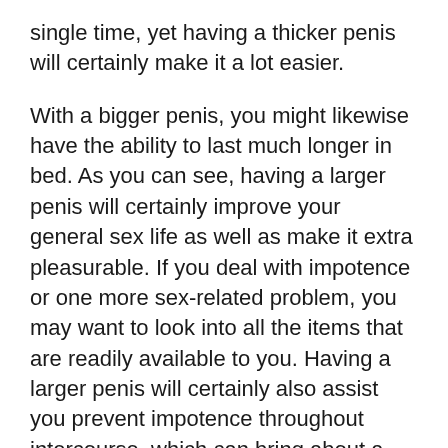single time, yet having a thicker penis will certainly make it a lot easier.
With a bigger penis, you might likewise have the ability to last much longer in bed. As you can see, having a larger penis will certainly improve your general sex life as well as make it extra pleasurable. If you deal with impotence or one more sex-related problem, you may want to look into all the items that are readily available to you. Having a larger penis will certainly also assist you prevent impotence throughout intercourse, which can bring about a number of problems during intercourse.
While you are making use of an item to increase the size of your penis, you need to